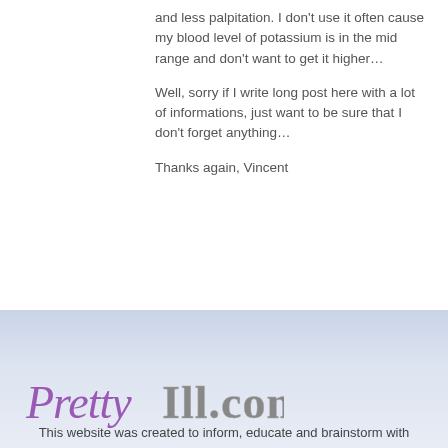and less palpitation. I don't use it often cause my blood level of potassium is in the mid range and don't want to get it higher...
Well, sorry if I write long post here with a lot of informations, just want to be sure that I don't forget anything...
Thanks again, Vincent
[Figure (logo): PrettyIll.com logo with 'Pretty' in purple cursive/italic font and 'Ill.com' in grey serif font with decorative stone/carved texture]
This website was created to inform, educate and brainstorm with